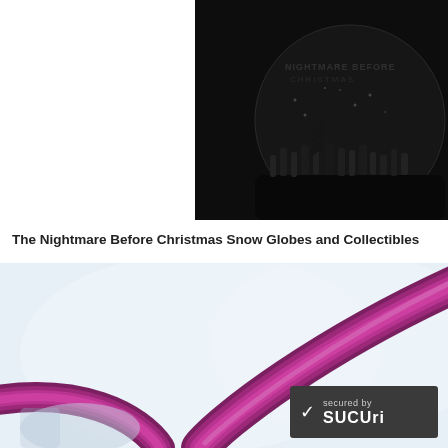[Figure (photo): Close-up black and white photo of a snow globe or collectible with embossed figures from The Nightmare Before Christmas, dark metallic base visible]
The Nightmare Before Christmas Snow Globes and Collectibles
[Figure (photo): Colorful close-up image showing purple/magenta curved tentacle-like shapes against a light blue background, partial view of a Nightmare Before Christmas collectible figure]